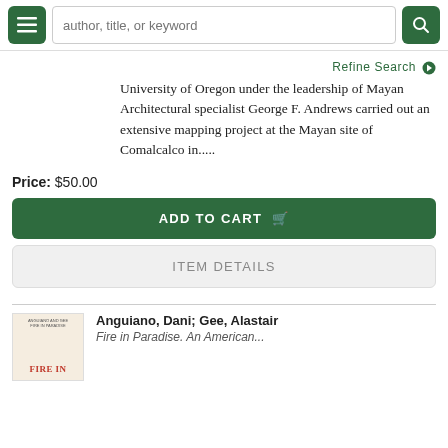author, title, or keyword [search bar with hamburger menu and search button]
Refine Search
University of Oregon under the leadership of Mayan Architectural specialist George F. Andrews carried out an extensive mapping project at the Mayan site of Comalcalco in.....
Price: $50.00
ADD TO CART
ITEM DETAILS
Anguiano, Dani; Gee, Alastair
Fire in Paradise. An American...